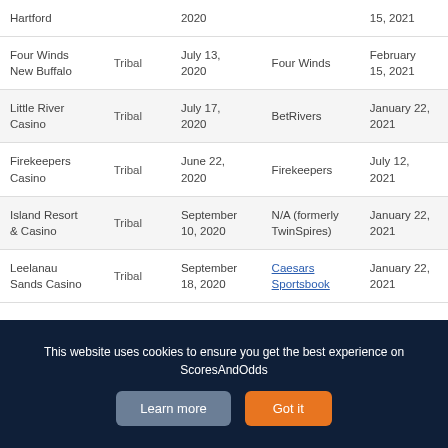| Casino | Type | Online Since | Platform | App Available |
| --- | --- | --- | --- | --- |
| Hartford |  | 2020 |  | 15, 2021 |
| Four Winds New Buffalo | Tribal | July 13, 2020 | Four Winds | February 15, 2021 |
| Little River Casino | Tribal | July 17, 2020 | BetRivers | January 22, 2021 |
| Firekeepers Casino | Tribal | June 22, 2020 | Firekeepers | July 12, 2021 |
| Island Resort & Casino | Tribal | September 10, 2020 | N/A (formerly TwinSpires) | January 22, 2021 |
| Leelanau Sands Casino | Tribal | September 18, 2020 | Caesars Sportsbook | January 22, 2021 |
This website uses cookies to ensure you get the best experience on ScoresAndOdds